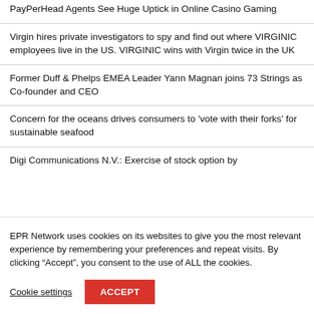PayPerHead Agents See Huge Uptick in Online Casino Gaming
Virgin hires private investigators to spy and find out where VIRGINIC employees live in the US. VIRGINIC wins with Virgin twice in the UK
Former Duff & Phelps EMEA Leader Yann Magnan joins 73 Strings as Co-founder and CEO
Concern for the oceans drives consumers to 'vote with their forks' for sustainable seafood
Digi Communications N.V.: Exercise of stock option by
EPR Network uses cookies on its websites to give you the most relevant experience by remembering your preferences and repeat visits. By clicking “Accept”, you consent to the use of ALL the cookies.
Cookie settings
ACCEPT